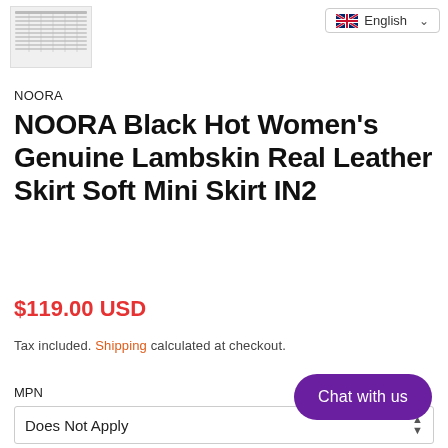[Figure (screenshot): Product thumbnail showing a size chart table for the leather skirt]
[Figure (screenshot): Language selector dropdown showing English with UK flag]
NOORA
NOORA Black Hot Women's Genuine Lambskin Real Leather Skirt Soft Mini Skirt IN2
$119.00 USD
Tax included. Shipping calculated at checkout.
MPN
Does Not Apply
Chat with us